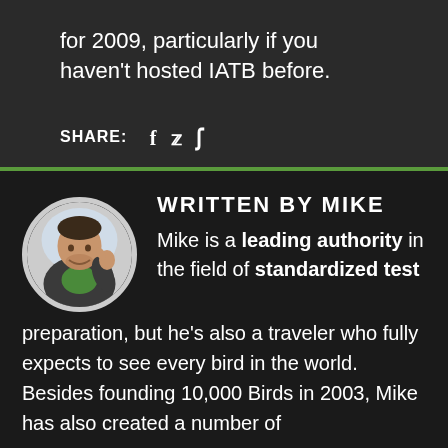for 2009, particularly if you haven't hosted IATB before.
SHARE: f
[Figure (illustration): Green horizontal divider line]
[Figure (photo): Circular portrait photo of Mike giving thumbs up]
WRITTEN BY MIKE
Mike is a leading authority in the field of standardized test preparation, but he's also a traveler who fully expects to see every bird in the world. Besides founding 10,000 Birds in 2003, Mike has also created a number of